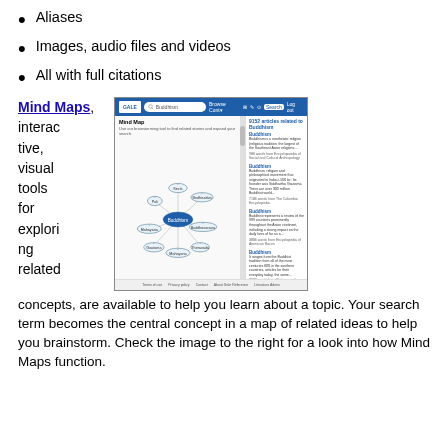Aliases
Images, audio files and videos
All with full citations
[Figure (screenshot): Screenshot of a Gale/Cengage reference database showing a Mind Map feature with Buddhism as the central concept, surrounded by related topics. The right panel shows 9152 articles related to Buddhism with excerpts from various sources.]
Mind Maps, interactive, visual tools for exploring related concepts, are available to help you learn about a topic. Your search term becomes the central concept in a map of related ideas to help you brainstorm. Check the image to the right for a look into how Mind Maps function.